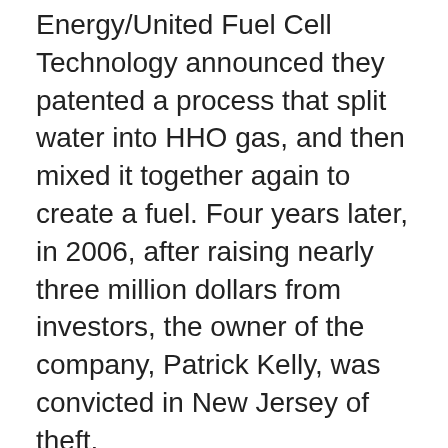Energy/United Fuel Cell Technology announced they patented a process that split water into HHO gas, and then mixed it together again to create a fuel. Four years later, in 2006, after raising nearly three million dollars from investors, the owner of the company, Patrick Kelly, was convicted in New Jersey of theft.
There?s also Genepax, a Japanese company that announced in 2008 they created a car that runs on water. But the company and its technology was roundly savaged by Popular Mechanics magazine. Eight years later, the company is still around, and was recently touting its new world-changing water-powered car that runs on two cans of soda. Their claims remain doubtful.